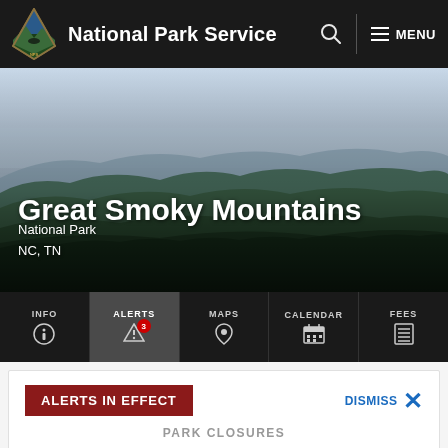National Park Service  MENU
[Figure (photo): Aerial panoramic photo of Great Smoky Mountains with layered forested ridges under a hazy sky]
Great Smoky Mountains
National Park
NC, TN
INFO  ALERTS  MAPS  CALENDAR  FEES
ALERTS IN EFFECT
DISMISS ✕
PARK CLOSURES